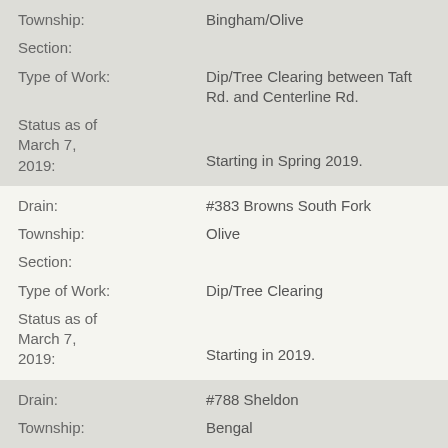Township: Bingham/Olive
Section:
Type of Work: Dip/Tree Clearing between Taft Rd. and Centerline Rd.
Status as of March 7, 2019: Starting in Spring 2019.
Drain: #383 Browns South Fork
Township: Olive
Section:
Type of Work: Dip/Tree Clearing
Status as of March 7, 2019: Starting in 2019.
Drain: #788 Sheldon
Township: Bengal
Section: